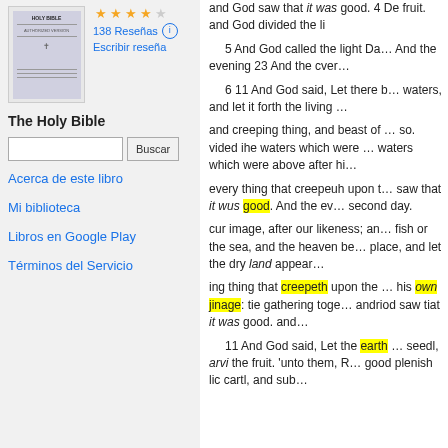[Figure (illustration): Book cover thumbnail of The Holy Bible, small text on cover with horizontal lines and a cross icon]
138 Reseñas
Escribir reseña
The Holy Bible
Buscar
Acerca de este libro
Mi biblioteca
Libros en Google Play
Términos del Servicio
and God saw that it was good. 4 De fruit. and God divided the li…
5 And God called the light Da… And the evening 23 And the cver…
6 11 And God said, Let there b… waters, and let it forth the living …
and creeping thing, and beast of … so. vided ihe waters which were … waters which were above after hi…
every thing that creepeuh upon t… saw that it wus good. And the ev… second day.
cur image, after our likeness; an… fish or the sea, and the heaven be… place, and let the dry land appear…
ing thing that creepeth upon the … his own jinage: tie gathering toge… andriod saw tiat it was good. and…
11 And God said, Let the earth … seedl, arvi the fruit. 'unto them, R… good plenish lic cartl, and sub…